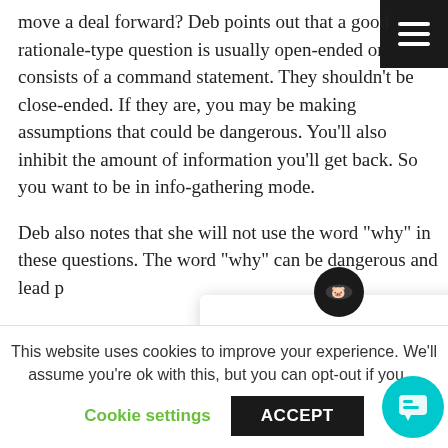move a deal forward? Deb points out that a good rationale-type question is usually open-ended or consists of a command statement. They shouldn't be close-ended. If they are, you may be making assumptions that could be dangerous. You'll also inhibit the amount of information you'll get back. So you want to be in info-gathering mode.
Deb also notes that she will not use the word "why" in these questions. The word "why" can be dangerous and lead p...
You want to say some...
Got any questions? We're happy to help.
This website uses cookies to improve your experience. We'll assume you're ok with this, but you can opt-out if you...
Cookie settings
ACCEPT